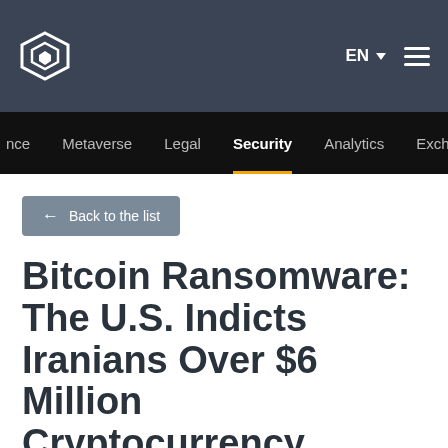Cointelegraph — EN — navigation menu
nce  Metaverse  Legal  Security  Analytics  Exchange
← Back to the list
Bitcoin Ransomware: The U.S. Indicts Iranians Over $6 Million Cryptocurrency Cyber-crimes
[Figure (photo): Red and dark red pixel/mosaic pattern image with a Security category tag in the bottom left corner]